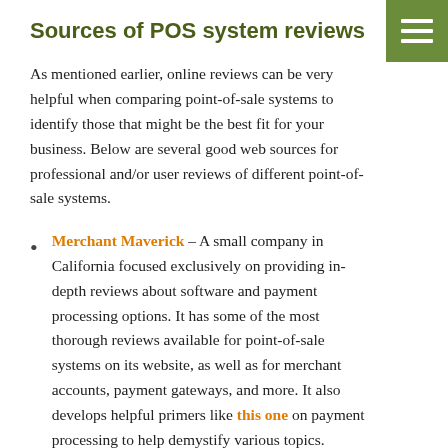Sources of POS system reviews
As mentioned earlier, online reviews can be very helpful when comparing point-of-sale systems to identify those that might be the best fit for your business. Below are several good web sources for professional and/or user reviews of different point-of-sale systems.
Merchant Maverick – A small company in California focused exclusively on providing in-depth reviews about software and payment processing options. It has some of the most thorough reviews available for point-of-sale systems on its website, as well as for merchant accounts, payment gateways, and more. It also develops helpful primers like this one on payment processing to help demystify various topics. Merchant Maverick makes its money through referral commissions, but note that companies cannot pay extra to be featured on the website